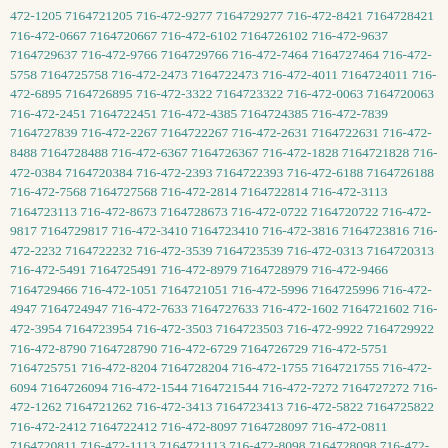472-1205 7164721205 716-472-9277 7164729277 716-472-8421 7164728421 716-472-0667 7164720667 716-472-6102 7164726102 716-472-9637 7164729637 716-472-9766 7164729766 716-472-7464 7164727464 716-472-5758 7164725758 716-472-2473 7164722473 716-472-4011 7164724011 716-472-6895 7164726895 716-472-3322 7164723322 716-472-0063 7164720063 716-472-2451 7164722451 716-472-4385 7164724385 716-472-7839 7164727839 716-472-2267 7164722267 716-472-2631 7164722631 716-472-8488 7164728488 716-472-6367 7164726367 716-472-1828 7164721828 716-472-0384 7164720384 716-472-2393 7164722393 716-472-6188 7164726188 716-472-7568 7164727568 716-472-2814 7164722814 716-472-3113 7164723113 716-472-8673 7164728673 716-472-0722 7164720722 716-472-9817 7164729817 716-472-3410 7164723410 716-472-3816 7164723816 716-472-2232 7164722232 716-472-3539 7164723539 716-472-0313 7164720313 716-472-5491 7164725491 716-472-8979 7164728979 716-472-9466 7164729466 716-472-1051 7164721051 716-472-5996 7164725996 716-472-4947 7164724947 716-472-7633 7164727633 716-472-1602 7164721602 716-472-3954 7164723954 716-472-3503 7164723503 716-472-9922 7164729922 716-472-8790 7164728790 716-472-6729 7164726729 716-472-5751 7164725751 716-472-8204 7164728204 716-472-1755 7164721755 716-472-6094 7164726094 716-472-1544 7164721544 716-472-7272 7164727272 716-472-1262 7164721262 716-472-3413 7164723413 716-472-5822 7164725822 716-472-2412 7164722412 716-472-8097 7164728097 716-472-0811 7164720811 716-472-1113 7164721113 716-472-8098 7164728098 716-472-7547 7164727547 716-472-8118 7164728118 716-472-8452 7164728452 716-472-2566 7164722566 716-472-0684